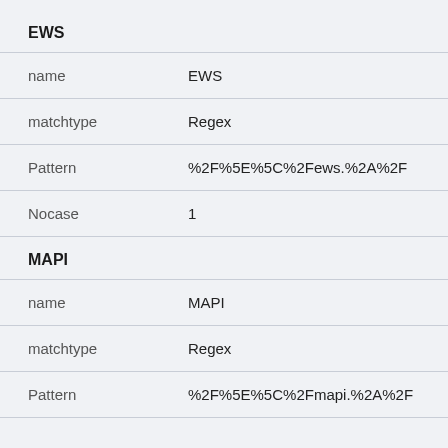EWS
| key | value |
| --- | --- |
| name | EWS |
| matchtype | Regex |
| Pattern | %2F%5E%5C%2Fews.%2A%2F |
| Nocase | 1 |
MAPI
| key | value |
| --- | --- |
| name | MAPI |
| matchtype | Regex |
| Pattern | %2F%5E%5C%2Fmapi.%2A%2F |